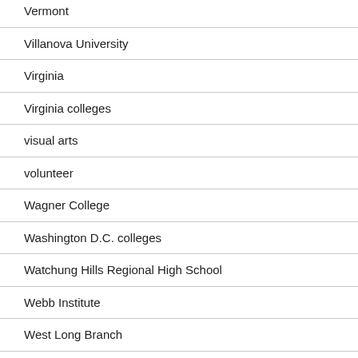Vermont
Villanova University
Virginia
Virginia colleges
visual arts
volunteer
Wagner College
Washington D.C. colleges
Watchung Hills Regional High School
Webb Institute
West Long Branch